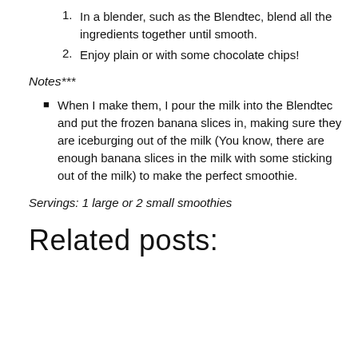1. In a blender, such as the Blendtec, blend all the ingredients together until smooth.
2. Enjoy plain or with some chocolate chips!
Notes***
When I make them, I pour the milk into the Blendtec and put the frozen banana slices in, making sure they are iceburging out of the milk (You know, there are enough banana slices in the milk with some sticking out of the milk) to make the perfect smoothie.
Servings: 1 large or 2 small smoothies
Related posts: